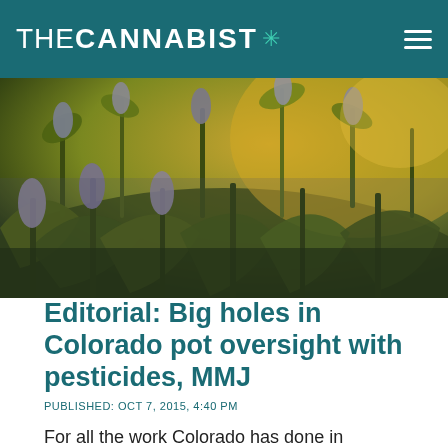THE CANNABIST
[Figure (photo): Close-up photograph of cannabis plants growing indoors under warm yellow lighting, with green and purple tinted buds and leaves visible in the foreground and background.]
Editorial: Big holes in Colorado pot oversight with pesticides, MMJ
PUBLISHED: OCT 7, 2015, 4:40 PM
For all the work Colorado has done in creating the world's first regulatory structure for legal marijuana sales, the effort is not finished.